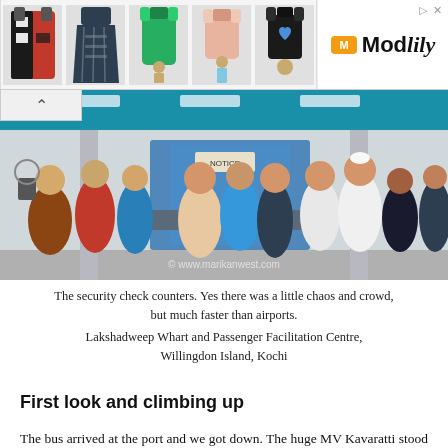[Figure (other): Advertisement banner showing fashion clothing items (patterned coat, maxi dress, green top, pink top, black t-shirt) with Modlily brand logo on the right]
[Figure (photo): Photograph of a crowded security check counter area at Lakshadweep Wharf and Passenger Facilitation Centre, Willingdon Island, Kochi. Shows many people queuing with blue-lit ceiling and blue security booths.]
The security check counters. Yes there was a little chaos and crowd, but much faster than airports.
Lakshadweep Whart and Passenger Facilitation Centre, Willingdon Island, Kochi
First look and climbing up
The bus arrived at the port and we got down. The huge MV Kavaratti stood a hundred yards away. It was huger than I